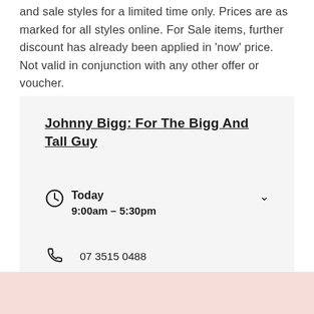and sale styles for a limited time only. Prices are as marked for all styles online. For Sale items, further discount has already been applied in 'now' price. Not valid in conjunction with any other offer or voucher.
Johnny Bigg: For The Bigg And Tall Guy
Today
9:00am – 5:30pm
07 3515 0488
Near Kmart